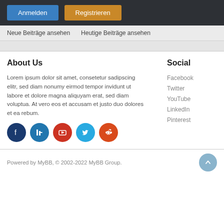Anmelden  Registrieren
Neue Beiträge ansehen  Heutige Beiträge ansehen
About Us
Lorem ipsum dolor sit amet, consetetur sadipscing elitr, sed diam nonumy eirmod tempor invidunt ut labore et dolore magna aliquyam erat, sed diam voluptua. At vero eos et accusam et justo duo dolores et ea rebum.
[Figure (illustration): Row of five circular social media icons: Facebook (dark blue), LinkedIn (blue), YouTube (red), Twitter (light blue), Reddit (orange-red)]
Social
Facebook
Twitter
YouTube
LinkedIn
Pinterest
Powered by MyBB, © 2002-2022 MyBB Group.